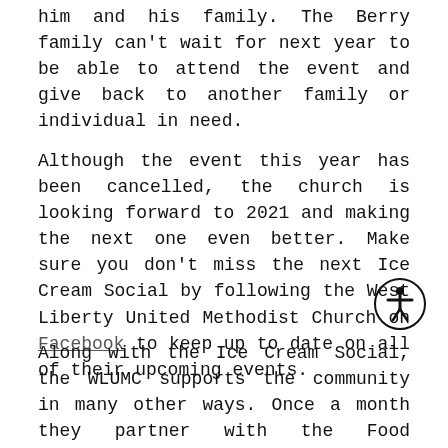him and his family. The Berry family can't wait for next year to be able to attend the event and give back to another family or individual in need.
Although the event this year has been cancelled, the church is looking forward to 2021 and making the next one even better. Make sure you don't miss the next Ice Cream Social by following the West Liberty United Methodist Church on Facebook to keep up to date on all of their upcoming events.
Along with the Ice Cream Social, the WLUMC supports the community in many other ways. Once a month they partner with the Food Resource Bank of Springfield to distribute food to families and individuals in need. They also prepare hot meals for the Caring Kitchen in Urbana on the fourth Saturday of each month. To learn about more ways the WLUMC helps the community, you can visit their website. If